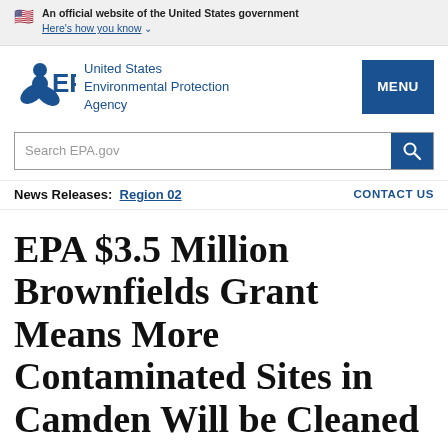An official website of the United States government Here's how you know
[Figure (logo): EPA logo with blue leaf/person icon and 'EPA' text, United States Environmental Protection Agency wordmark, and MENU button]
Search EPA.gov
News Releases: Region 02  CONTACT US
EPA $3.5 Million Brownfields Grant Means More Contaminated Sites in Camden Will be Cleaned Up